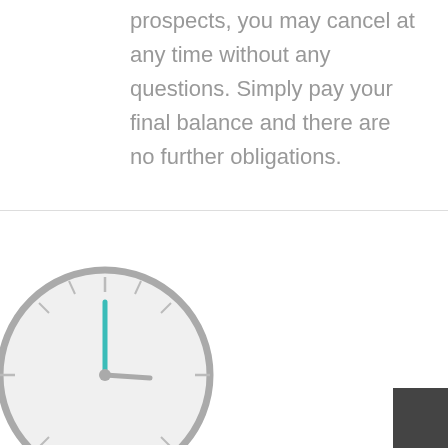prospects, you may cancel at any time without any questions. Simply pay your final balance and there are no further obligations.
[Figure (illustration): A clock illustration partially visible at the bottom of the page, with a teal/cyan colored minute hand pointing upward and hour hand, gray circular clock face with tick marks, and a dark rectangle in the bottom-right corner.]